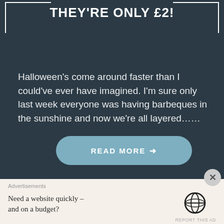THEY'RE ONLY £2!
Halloween's come around faster than I could've ever have imagined. I'm sure only last week everyone was having barbeques in the sunshine and now we're all layered......
READ MORE →
Advertisements
Need a website quickly – and on a budget?
REPORT THIS AD